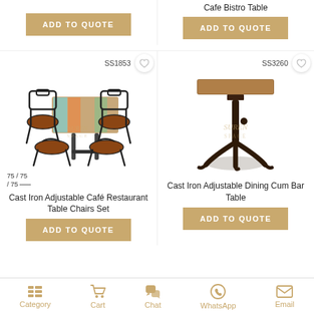[Figure (photo): Left column top: ADD TO QUOTE button (partially visible product above)]
[Figure (photo): Right column top: Cafe Bistro Table product label and ADD TO QUOTE button]
Cafe Bistro Table
[Figure (photo): Cast Iron Adjustable Café Restaurant Table Chairs Set product image, SKU SS1853, with dimensions 75/75/75]
SS1853
Cast Iron Adjustable Café Restaurant Table Chairs Set
ADD TO QUOTE
[Figure (photo): Cast Iron Adjustable Dining Cum Bar Table product image, SKU SS3260]
SS3260
Cast Iron Adjustable Dining Cum Bar Table
ADD TO QUOTE
Category  Cart  Chat  WhatsApp  Email